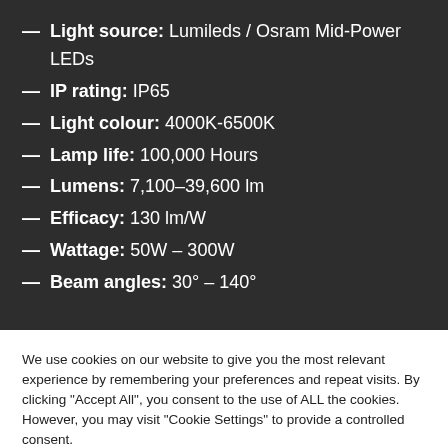— Light source: Lumileds / Osram Mid-Power LEDs
— IP rating: IP65
— Light colour: 4000K-6500K
— Lamp life: 100,000 Hours
— Lumens: 7,100-39,600 lm
— Efficacy: 130 lm/W
— Wattage: 50W – 300W
— Beam angles: 30° – 140°
We use cookies on our website to give you the most relevant experience by remembering your preferences and repeat visits. By clicking "Accept All", you consent to the use of ALL the cookies. However, you may visit "Cookie Settings" to provide a controlled consent.